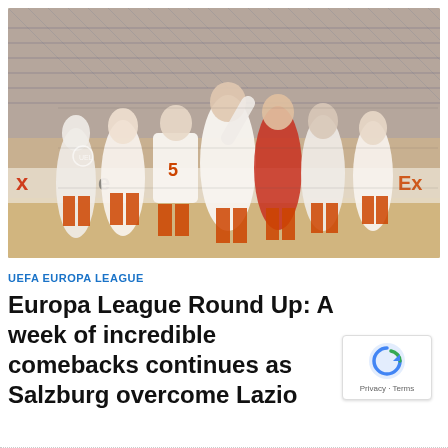[Figure (photo): Artistic/illustrated photo of football players celebrating together on a pitch, in a stylized sketch/comic art style. Players wearing white and orange-red kit (Salzburg). Europa League branding visible in background. FedEx advertising boards visible.]
UEFA EUROPA LEAGUE
Europa League Round Up: A week of incredible comebacks continues as Salzburg overcome Lazio